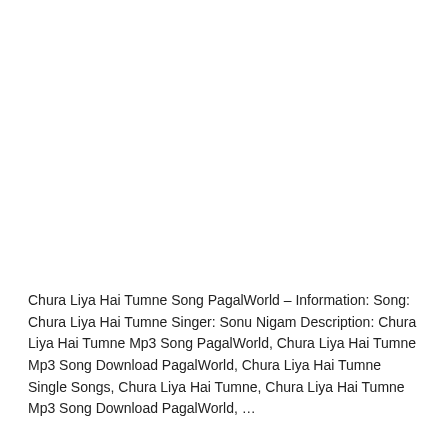Chura Liya Hai Tumne Song PagalWorld – Information: Song: Chura Liya Hai Tumne Singer: Sonu Nigam Description: Chura Liya Hai Tumne Mp3 Song PagalWorld, Chura Liya Hai Tumne Mp3 Song Download PagalWorld, Chura Liya Hai Tumne Single Songs, Chura Liya Hai Tumne, Chura Liya Hai Tumne Mp3 Song Download PagalWorld, …